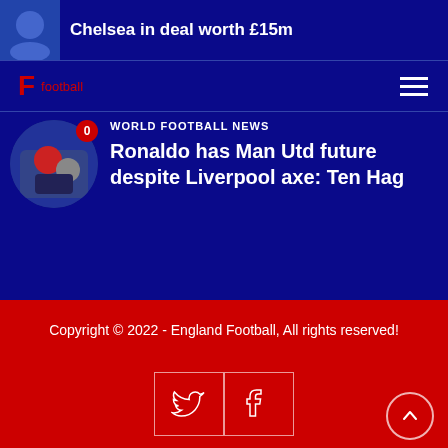Chelsea in deal worth £15m
football
WORLD FOOTBALL NEWS
Ronaldo has Man Utd future despite Liverpool axe: Ten Hag
Copyright © 2022 - England Football, All rights reserved!